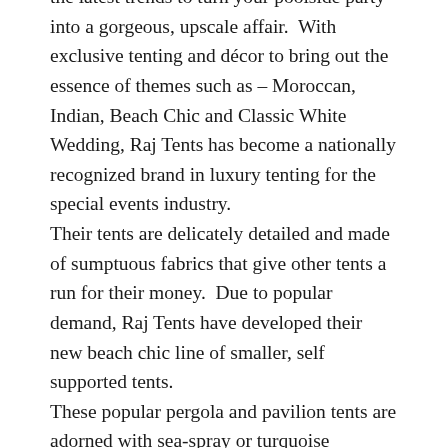the latest trends to turn your poolside party into a gorgeous, upscale affair. With exclusive tenting and décor to bring out the essence of themes such as – Moroccan, Indian, Beach Chic and Classic White Wedding, Raj Tents has become a nationally recognized brand in luxury tenting for the special events industry. Their tents are delicately detailed and made of sumptuous fabrics that give other tents a run for their money. Due to popular demand, Raj Tents have developed their new beach chic line of smaller, self supported tents. These popular pergola and pavilion tents are adorned with sea-spray or turquoise exteriors with a myriad of blue shades for the valance. Their size